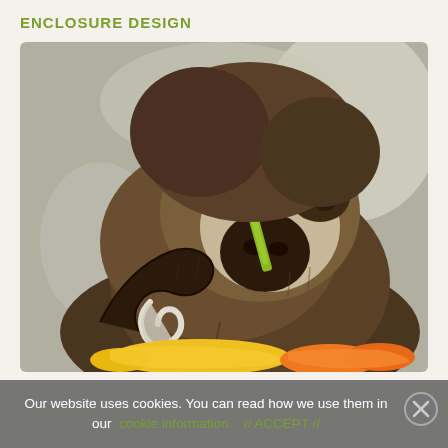ENCLOSURE DESIGN
[Figure (photo): Close-up photograph of a sloth eating a green vegetable/celery stick, with yellow banana and orange carrots visible at the bottom. The sloth is dark brown and furry, hanging upside down, with a distinctive curved claw visible.]
Our website uses cookies. You can read how we use them in our cookie information. // ACCEPT //